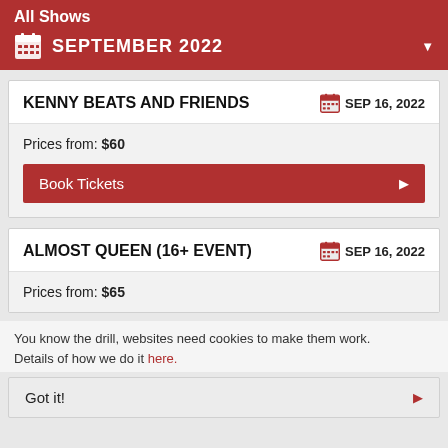All Shows
SEPTEMBER 2022
KENNY BEATS AND FRIENDS
SEP 16, 2022
Prices from: $60
Book Tickets
ALMOST QUEEN (16+ EVENT)
SEP 16, 2022
Prices from: $65
You know the drill, websites need cookies to make them work. Details of how we do it here.
Got it!